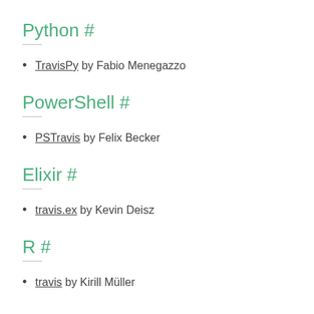Python #
TravisPy by Fabio Menegazzo
PowerShell #
PSTravis by Felix Becker
Elixir #
travis.ex by Kevin Deisz
R #
travis by Kirill Müller